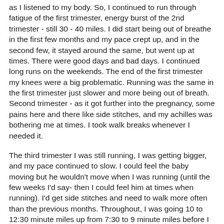as I listened to my body. So, I continued to run through fatigue of the first trimester, energy burst of the 2nd trimester - still 30 - 40 miles. I did start being out of breathe in the first few months and my pace crept up, and in the second few, it stayed around the same, but went up at times. There were good days and bad days. I continued long runs on the weekends. The end of the first trimester my knees were a big problematic. Running was the same in the first trimester just slower and more being out of breath. Second trimester - as it got further into the pregnancy, some pains here and there like side stitches, and my achilles was bothering me at times. I took walk breaks whenever I needed it.
The third trimester I was still running, I was getting bigger, and my pace continued to slow. I could feel the baby moving but he wouldn't move when I was running (until the few weeks I'd say- then I could feel him at times when running). I'd get side stitches and need to walk more often than the previous months. Throughout, I was going 10 to 12:30 minute miles up from 7:30 to 9 minute miles before I was pregnant. I kept up the mileage and hit 30 miles almost every week, and dropped some of the longer runs until more